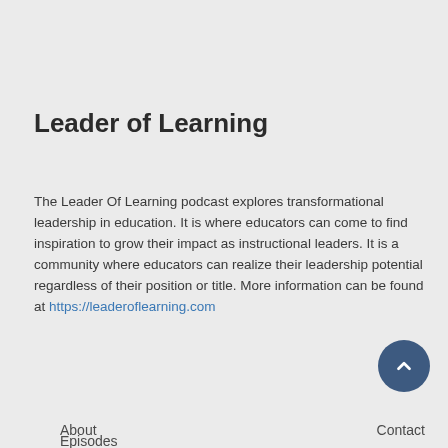Leader of Learning
The Leader Of Learning podcast explores transformational leadership in education. It is where educators can come to find inspiration to grow their impact as instructional leaders. It is a community where educators can realize their leadership potential regardless of their position or title. More information can be found at https://leaderoflearning.com
About   Contact   Episodes